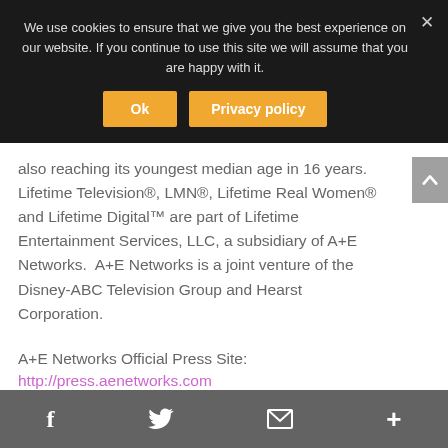We use cookies to ensure that we give you the best experience on our website. If you continue to use this site we will assume that you are happy with it.
Ok | Privacy policy
also reaching its youngest median age in 16 years.  Lifetime Television®, LMN®, Lifetime Real Women® and Lifetime Digital™ are part of Lifetime Entertainment Services, LLC, a subsidiary of A+E Networks.  A+E Networks is a joint venture of the Disney-ABC Television Group and Hearst Corporation.
A+E Networks Official Press Site:
http://press.aenetworks.com
f  twitter  mail  +